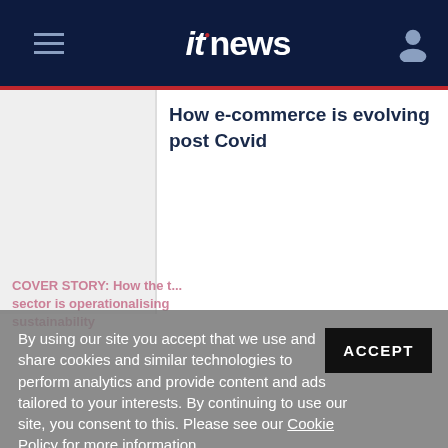itnews
How e-commerce is evolving post Covid
By using our site you accept that we use and share cookies and similar technologies to perform analytics and provide content and ads tailored to your interests. By continuing to use our site, you consent to this. Please see our Cookie Policy for more information.
ACCEPT
COVER STORY: How the t... sector is operationalising sustainability